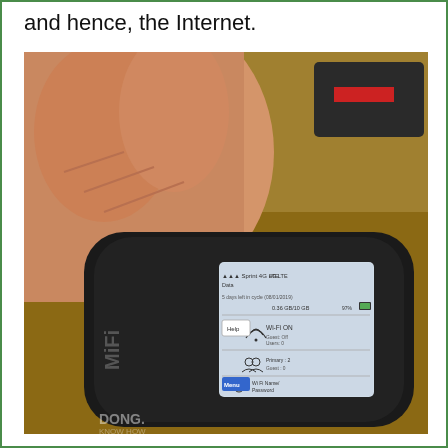and hence, the Internet.
[Figure (photo): A hand holding a black MiFi mobile hotspot device. The device's small screen displays: Sprint 4G LTE, Data, 5 days left in cycle (08/01/2019), 0.36 GB/10 GB, 97%, Wi-Fi ON, Primary: 2, Guest: Off, Users: 0, Wi-Fi Name/Password, Help, Menu button (blue). The device has 'MiFi' branding on its side.]